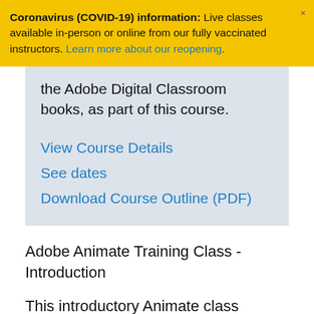Coronavirus (COVID-19) information: Live classes available in-person or online from our fully vaccinated instructors. Learn more about our reopening.
the Adobe Digital Classroom books, as part of this course.
View Course Details
See dates
Download Course Outline (PDF)
Adobe Animate Training Class - Introduction
This introductory Animate class provides you with an introduction to animation and